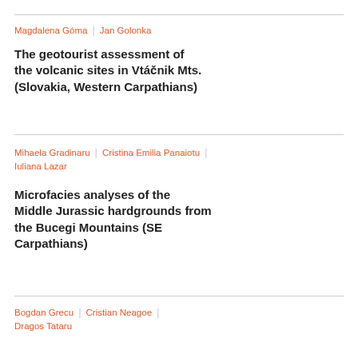Magdalena Góma | Jan Golonka
The geotourist assessment of the volcanic sites in Vtáčnik Mts. (Slovakia, Western Carpathians)
Mihaela Gradinaru | Cristina Emilia Panaiotu | Iuliana Lazar
Microfacies analyses of the Middle Jurassic hardgrounds from the Bucegi Mountains (SE Carpathians)
Bogdan Grecu | Cristian Neagoe | Dragos Tataru